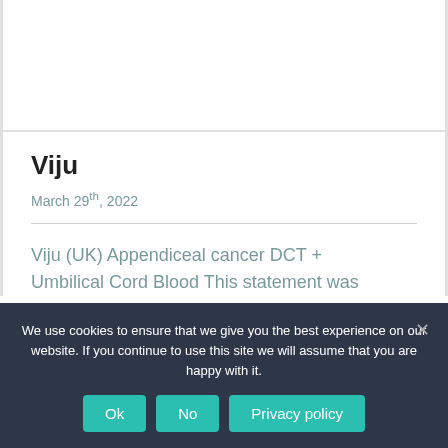Viju
March 29th, 2022
Viju (UK) Appendiceal cancer DCT +
Umbilical Cord Blood This statement was
We use cookies to ensure that we give you the best experience on our website. If you continue to use this site we will assume that you are happy with it.